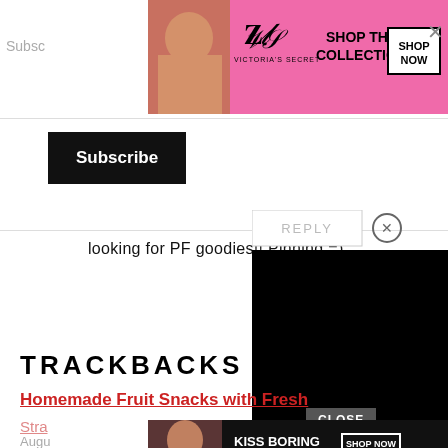[Figure (screenshot): Victoria's Secret advertisement banner - pink background with model, VS logo, 'SHOP THE COLLECTION' text and 'SHOP NOW' button]
Subsc
Subscribe
looking for PF goodies!! Pinning =)
[Figure (screenshot): Reply button dialog partially visible, with circular X close button and black video overlay]
TRACKBACKS
Homemade Fruit Snacks with Fresh
Stra
Augu
[Figure (screenshot): Macy's advertisement - black background with model, 'KISS BORING LIPS GOODBYE', 'SHOP NOW' button and Macy's star logo]